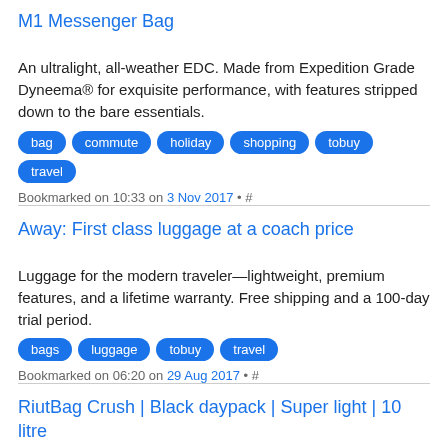M1 Messenger Bag
An ultralight, all-weather EDC. Made from Expedition Grade Dyneema® for exquisite performance, with features stripped down to the bare essentials.
bag  commute  holiday  shopping  tobuy  travel
Bookmarked on 10:33 on 3 Nov 2017 • #
Away: First class luggage at a coach price
Luggage for the modern traveler—lightweight, premium features, and a lifetime warranty. Free shipping and a 100-day trial period.
bags  luggage  tobuy  travel
Bookmarked on 06:20 on 29 Aug 2017 • #
RiutBag Crush | Black daypack | Super light | 10 litre
"Weighing less than 250 grams, the Crush is so light it folds into its own pocket. Like all RiutBags, it only has zips against your back for peace of mind anywhere. Take on